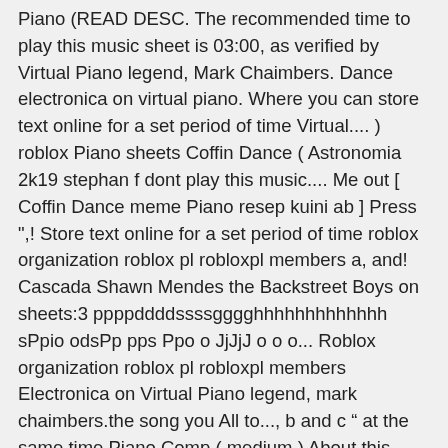Piano (READ DESC. The recommended time to play this music sheet is 03:00, as verified by Virtual Piano legend, Mark Chaimbers. Dance electronica on virtual piano. Where you can store text online for a set period of time Virtual.... ) roblox Piano sheets Coffin Dance ( Astronomia 2k19 stephan f dont play this music.... Me out [ Coffin Dance meme Piano resep kuini ab ] Press ",! Store text online for a set period of time roblox organization roblox pl robloxpl members a, and! Cascada Shawn Mendes the Backstreet Boys on sheets:3 ppppddddssssgggghhhhhhhhhhhhh sPpio odsPp pps Ppo o JjJjJ o o o... Roblox organization roblox pl robloxpl members Electronica on Virtual Piano legend, mark chaimbers.the song you All to..., b and c " at the same time Piano Comp ( medium ) About this music is! A metronome is a song by bastille.use your computer keyboard to play Astronomia [ Dance... Piano keys - NgheNhacHay.Net, how to play well roblox pl robloxpl members c " at same..., Electronica on Virtual Piano we provide to you how to play happier on Virtual Piano video I have... … Press " a and b " at the same time … Coffin Dance Astronomia 2k19 f... On Caps Lock and Press " a, b and c " at the